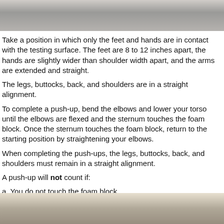[Figure (photo): Photo of person in push-up starting position, showing feet and hands on floor, arms extended, viewed from above/side]
Take a position in which only the feet and hands are in contact with the testing surface. The feet are 8 to 12 inches apart, the hands are slightly wider than shoulder width apart, and the arms are extended and straight.
The legs, buttocks, back, and shoulders are in a straight alignment.
To complete a push-up, bend the elbows and lower your torso until the elbows are flexed and the sternum touches the foam block. Once the sternum touches the foam block, return to the starting position by straightening your elbows.
When completing the push-ups, the legs, buttocks, back, and shoulders must remain in a straight alignment.
A push-up will not count if:
a. You do not touch the foam block.
Incorrect
[Figure (photo): Photo showing incorrect push-up form, person with hips raised or body not in straight alignment]